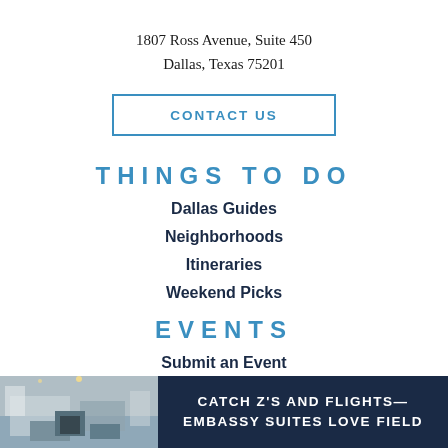1807 Ross Avenue, Suite 450
Dallas, Texas 75201
CONTACT US
THINGS TO DO
Dallas Guides
Neighborhoods
Itineraries
Weekend Picks
EVENTS
Submit an Event
[Figure (photo): Advertisement banner for Embassy Suites Love Field with a room photo on the left and text 'CATCH Z'S AND FLIGHTS— EMBASSY SUITES LOVE FIELD' on dark navy background]